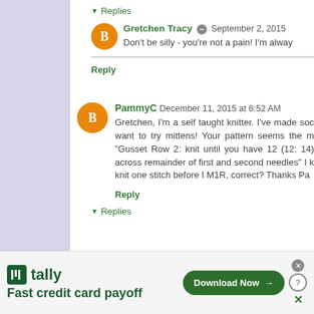Replies
Gretchen Tracy  September 2, 2015
Don't be silly - you're not a pain! I'm alwa
Reply
PammyC  December 11, 2015 at 6:52 AM
Gretchen, I'm a self taught knitter. I've made soc want to try mittens! Your pattern seems the m "Gusset Row 2: knit until you have 12 (12; 14) across remainder of first and second needles" I knit one stitch before I M1R, correct? Thanks Pa
Reply
Replies